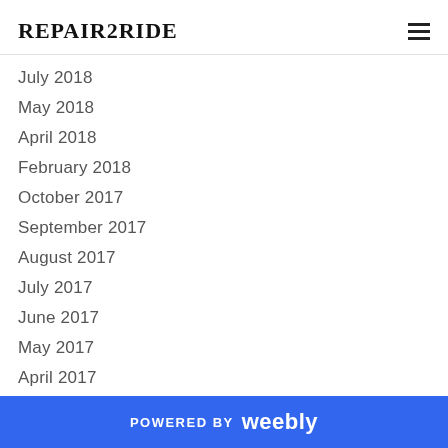REPAIR2RIDE
July 2018
May 2018
April 2018
February 2018
October 2017
September 2017
August 2017
July 2017
June 2017
May 2017
April 2017
March 2017
December 2016
POWERED BY weebly